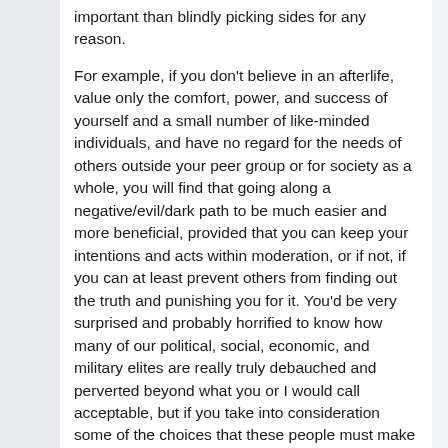important than blindly picking sides for any reason.
For example, if you don't believe in an afterlife, value only the comfort, power, and success of yourself and a small number of like-minded individuals, and have no regard for the needs of others outside your peer group or for society as a whole, you will find that going along a negative/evil/dark path to be much easier and more beneficial, provided that you can keep your intentions and acts within moderation, or if not, if you can at least prevent others from finding out the truth and punishing you for it. You'd be very surprised and probably horrified to know how many of our political, social, economic, and military elites are really truly debauched and perverted beyond what you or I would call acceptable, but if you take into consideration some of the choices that these people must make as a matter of course, then it really isn't all that surprising.